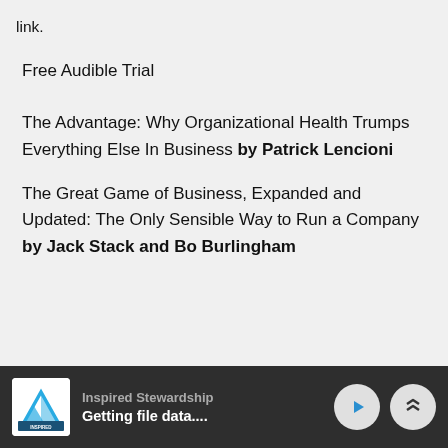link.
Free Audible Trial
The Advantage: Why Organizational Health Trumps Everything Else In Business by Patrick Lencioni
The Great Game of Business, Expanded and Updated: The Only Sensible Way to Run a Company by Jack Stack and Bo Burlingham
Inspired Stewardship | Getting file data....